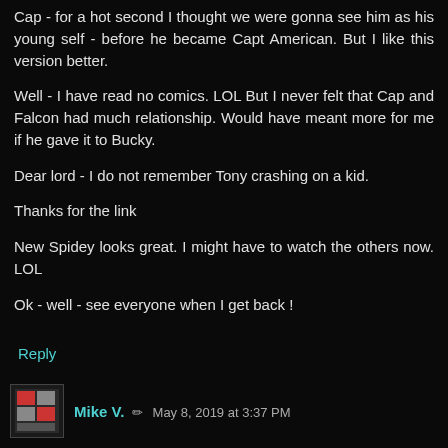Cap - for a hot second I thought we were gonna see him as his young self - before he became Capt American. But I like this version better.
Well - I have read no comics. LOL But I never felt that Cap and Falcon had much relationship. Would have meant more for me if he gave it to Bucky.
Dear lord - I do not remember Tony crashing on a kid.
Thanks for the link
New Spidey looks great. I might have to watch the others now. LOL
Ok - well - see everyone when I get back !
Reply
Mike V.  ✏  May 8, 2019 at 3:37 PM